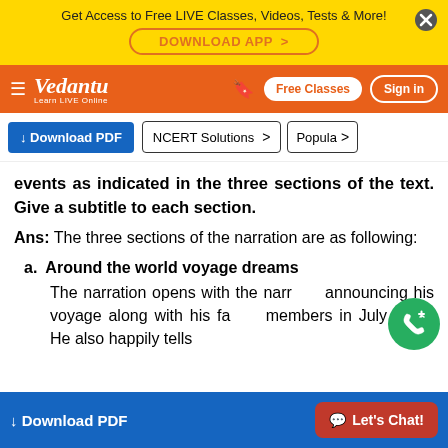Get Access to Free LIVE Classes, Videos, Tests & More! DOWNLOAD APP
Vedantu - Learn LIVE Online | Free Classes | Sign in
Download PDF | NCERT Solutions | Popular
events as indicated in the three sections of the text. Give a subtitle to each section.
Ans: The three sections of the narration are as following:
a. Around the world voyage dreams
The narration opens with the narrator announcing his voyage along with his family members in July 1976. He also happily tells
Download PDF | Let's Chat!